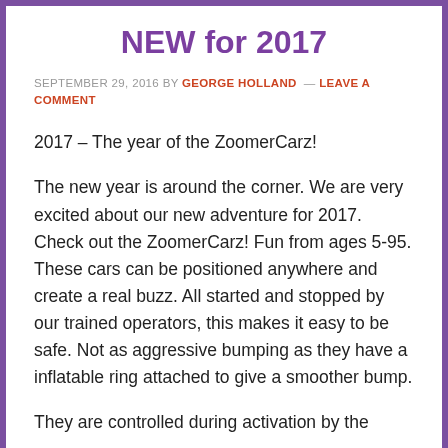NEW for 2017
SEPTEMBER 29, 2016 BY GEORGE HOLLAND — LEAVE A COMMENT
2017 – The year of the ZoomerCarz!
The new year is around the corner. We are very excited about our new adventure for 2017. Check out the ZoomerCarz! Fun from ages 5-95. These cars can be positioned anywhere and create a real buzz. All started and stopped by our trained operators, this makes it easy to be safe. Not as aggressive bumping as they have a inflatable ring attached to give a smoother bump.
They are controlled during activation by the